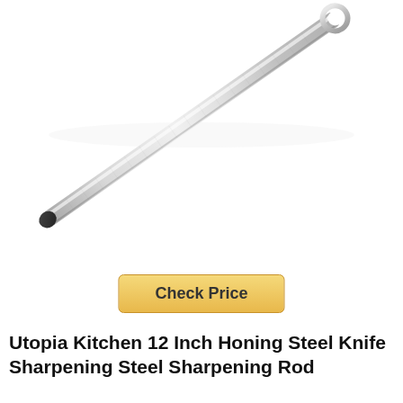[Figure (photo): A stainless steel honing rod / knife sharpening steel rod photographed diagonally on a white background. The rod is metallic silver/chrome colored, cylindrical, with a dark tip at the bottom-left and a ring/loop handle at the top-right. The image is cropped so only the rod is visible.]
Check Price
Utopia Kitchen 12 Inch Honing Steel Knife Sharpening Steel Sharpening Rod